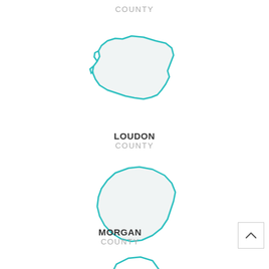COUNTY
[Figure (map): Outline map of Loudon County, Tennessee, shown as an irregular polygon shape with teal border and light gray fill]
LOUDON COUNTY
[Figure (map): Outline map of Morgan County, Tennessee, shown as an irregular roughly quadrilateral shape with teal border and light gray fill]
MORGAN COUNTY
[Figure (map): Partial outline map of another county at the bottom of the page, teal border, partially visible]